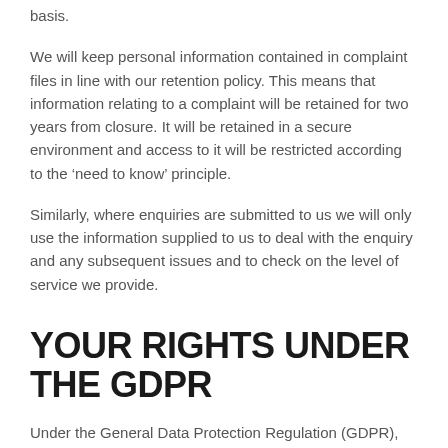basis.
We will keep personal information contained in complaint files in line with our retention policy. This means that information relating to a complaint will be retained for two years from closure. It will be retained in a secure environment and access to it will be restricted according to the ‘need to know’ principle.
Similarly, where enquiries are submitted to us we will only use the information supplied to us to deal with the enquiry and any subsequent issues and to check on the level of service we provide.
YOUR RIGHTS UNDER THE GDPR
Under the General Data Protection Regulation (GDPR), you have rights as an individual which you can exercise in relation to the information we hold about you. These consist of:
Your right to be informed